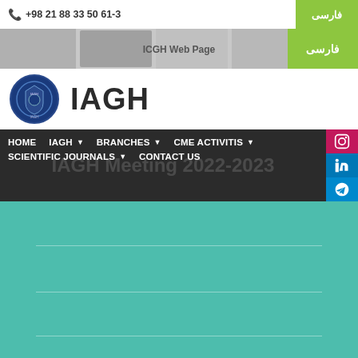+98 21 88 33 50 61-3
فارسی
ICGH Web Page
IAGH
HOME  IAGH  BRANCHES  CME ACTIVITIS  SCIENTIFIC JOURNALS  CONTACT US
IAGH Meeting 2022-2023